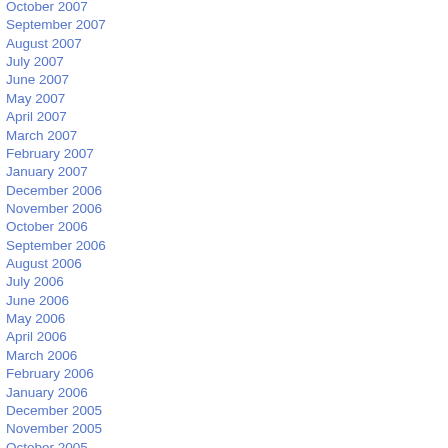October 2007
September 2007
August 2007
July 2007
June 2007
May 2007
April 2007
March 2007
February 2007
January 2007
December 2006
November 2006
October 2006
September 2006
August 2006
July 2006
June 2006
May 2006
April 2006
March 2006
February 2006
January 2006
December 2005
November 2005
October 2005
September 2005
August 2005
July 2005
June 2005
May 2005